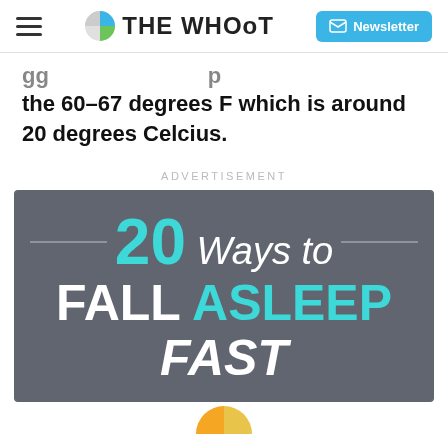THE WHOoT | Newsletter
gg ... p ... the 60-67 degrees F which is around 20 degrees Celcius.
ADVERTISEMENT
[Figure (infographic): Infographic banner with dark grey background reading '20 Ways to FALL ASLEEP FAST' with teal accent colors]